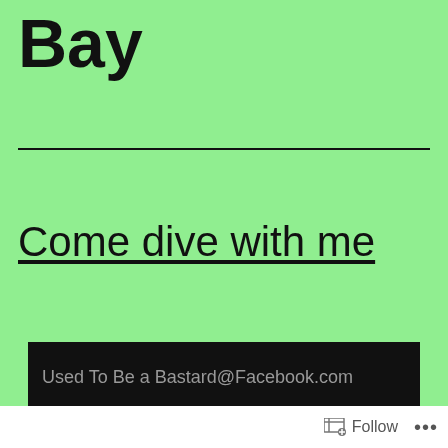Bay
Come dive with me
[Figure (screenshot): Dark box with grey text reading 'Used To Be a Bastard@Facebook.com']
Follow ...